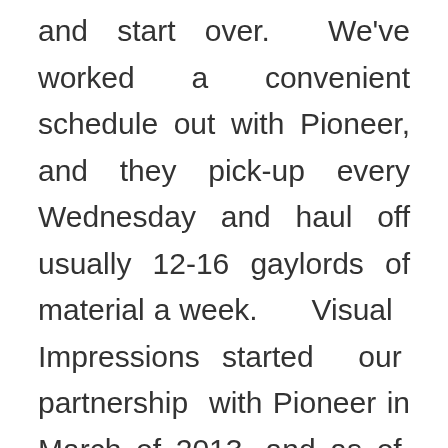and start over.  We've worked a convenient schedule out with Pioneer, and they pick-up every Wednesday and haul off usually 12-16 gaylords of material a week.  Visual Impressions started our partnership with Pioneer in March of 2013, and as of today (June 28, 2014) we've recycled 44.17 tons of material. This is all stuff that isn't going to